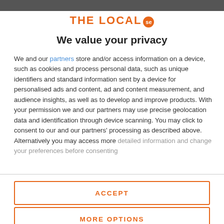THE LOCAL se
We value your privacy
We and our partners store and/or access information on a device, such as cookies and process personal data, such as unique identifiers and standard information sent by a device for personalised ads and content, ad and content measurement, and audience insights, as well as to develop and improve products. With your permission we and our partners may use precise geolocation data and identification through device scanning. You may click to consent to our and our partners' processing as described above. Alternatively you may access more detailed information and change your preferences before consenting
ACCEPT
MORE OPTIONS
Covid restrictions